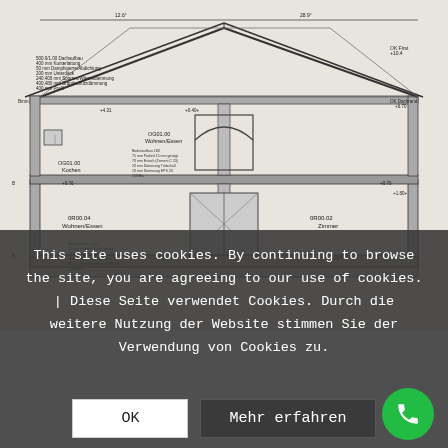[Figure (engineering-diagram): Architectural cross-section drawing of a residential building showing roof structure, attic/loft space (Wohnen/Essen and Kochen rooms labeled), ground floor rooms (Wohnen/Essen and Zimmer), structural elements, insulation layers, dimension annotations, and elevation markers. Drawn in black and white technical/architectural style.]
This site uses cookies. By continuing to browse the site, you are agreeing to our use of cookies. | Diese Seite verwendet Cookies. Durch die weitere Nutzung der Website stimmen Sie der Verwendung von Cookies zu.
OK
Mehr erfahren